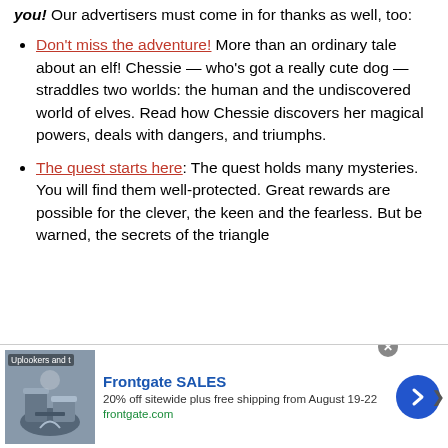you! Our advertisers must come in for thanks as well, too:
Don't miss the adventure! More than an ordinary tale about an elf! Chessie — who's got a really cute dog — straddles two worlds: the human and the undiscovered world of elves. Read how Chessie discovers her magical powers, deals with dangers, and triumphs.
The quest starts here: The quest holds many mysteries. You will find them well-protected. Great rewards are possible for the clever, the keen and the fearless. But be warned, the secrets of the triangle
[Figure (infographic): Advertisement banner for Frontgate SALES: 20% off sitewide plus free shipping from August 19-22, frontgate.com. Shows outdoor furniture image on left and a blue arrow button on right. Close button (x) visible.]